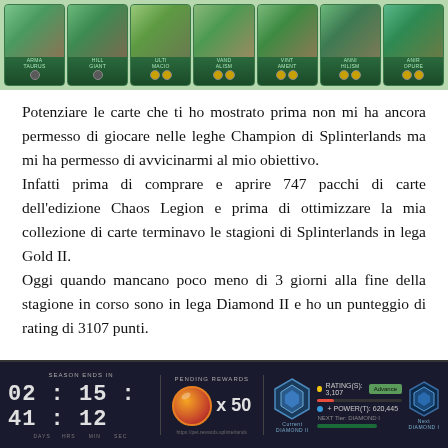[Figure (screenshot): Screenshot of Splinterlands game cards strip showing 7 cards with green backgrounds and character images]
Potenziare le carte che ti ho mostrato prima non mi ha ancora permesso di giocare nelle leghe Champion di Splinterlands ma mi ha permesso di avvicinarmi al mio obiettivo.
Infatti prima di comprare e aprire 747 pacchi di carte dell'edizione Chaos Legion e prima di ottimizzare la mia collezione di carte terminavo le stagioni di Splinterlands in lega Gold II.
Oggi quando mancano poco meno di 3 giorni alla fine della stagione in corso sono in lega Diamond II e ho un punteggio di rating di 3107 punti.
[Figure (screenshot): Splinterlands game UI screenshot showing season ends in 02:15:41:12, pending rewards x50, rating 3107, league Diamond II, next Diamond I]